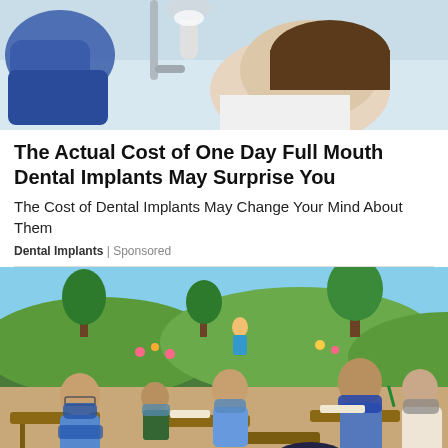[Figure (photo): Close-up photo of a dental procedure being performed, showing gloved hands and dental equipment near a patient's mouth]
The Actual Cost of One Day Full Mouth Dental Implants May Surprise You
The Cost of Dental Implants May Change Your Mind About Them
Dental Implants | Sponsored
[Figure (photo): Photo of school children wearing face masks sitting at desks in a classroom with a colorful mural painting on the wall behind them]